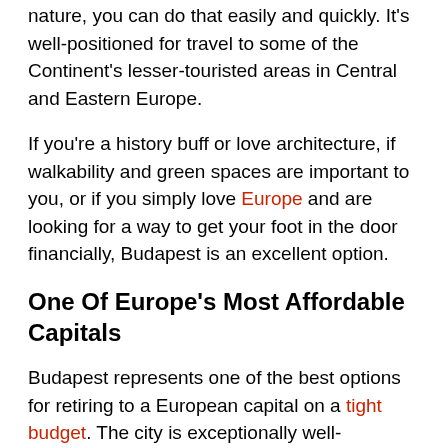nature, you can do that easily and quickly. It's well-positioned for travel to some of the Continent's lesser-touristed areas in Central and Eastern Europe.
If you're a history buff or love architecture, if walkability and green spaces are important to you, or if you simply love Europe and are looking for a way to get your foot in the door financially, Budapest is an excellent option.
One Of Europe's Most Affordable Capitals
Budapest represents one of the best options for retiring to a European capital on a tight budget. The city is exceptionally well-connected through its diverse and accessible public transport network, meaning you'd never need to worry